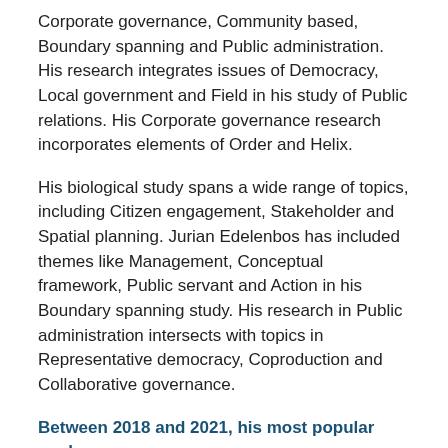Corporate governance, Community based, Boundary spanning and Public administration. His research integrates issues of Democracy, Local government and Field in his study of Public relations. His Corporate governance research incorporates elements of Order and Helix.
His biological study spans a wide range of topics, including Citizen engagement, Stakeholder and Spatial planning. Jurian Edelenbos has included themes like Management, Conceptual framework, Public servant and Action in his Boundary spanning study. His research in Public administration intersects with topics in Representative democracy, Coproduction and Collaborative governance.
Between 2018 and 2021, his most popular works were:
Identifying the results of smart city